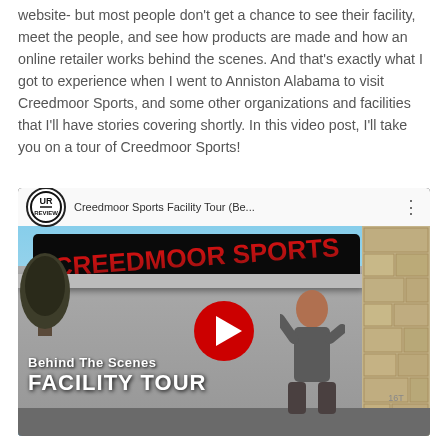website- but most people don't get a chance to see their facility, meet the people, and see how products are made and how an online retailer works behind the scenes. And that's exactly what I got to experience when I went to Anniston Alabama to visit Creedmoor Sports, and some other organizations and facilities that I'll have stories covering shortly. In this video post, I'll take you on a tour of Creedmoor Sports!
[Figure (screenshot): YouTube video embed thumbnail showing Creedmoor Sports Facility Tour. The thumbnail shows the exterior of a Creedmoor Sports store with a large sign, a man standing outside, stone wall on the right, and text overlays reading 'Behind the Scenes Facility Tour'. A red YouTube play button is visible in the center. The video title bar shows the UR logo and title 'Creedmoor Sports Facility Tour (Be...' with a menu dots icon.]